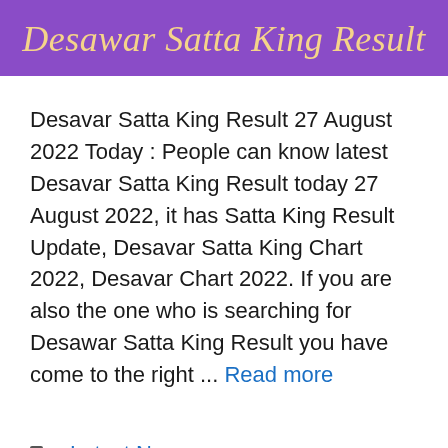Desawar Satta King Result
Desavar Satta King Result 27 August 2022 Today : People can know latest Desavar Satta King Result today 27 August 2022, it has Satta King Result Update, Desavar Satta King Chart 2022, Desavar Chart 2022. If you are also the one who is searching for Desawar Satta King Result you have come to the right ... Read more
Latest News